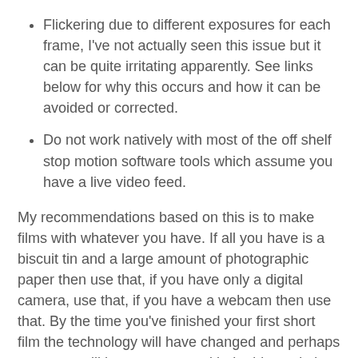Flickering due to different exposures for each frame, I've not actually seen this issue but it can be quite irritating apparently. See links below for why this occurs and how it can be avoided or corrected.
Do not work natively with most of the off shelf stop motion software tools which assume you have a live video feed.
My recommendations based on this is to make films with whatever you have. If all you have is a biscuit tin and a large amount of photographic paper then use that, if you have only a digital camera, use that, if you have a webcam then use that. By the time you've finished your first short film the technology will have changed and perhaps someone will have come up with the idea solution. Your first film is not going to be super high resolution, perfect colour and last 3 hours so I'm not really sure you need to worry. Saying that I'll make sure any second hand digital cameras I buy are not from ex-stop motion animators.
Digital Still Cams: How they work, Issues such as flickering